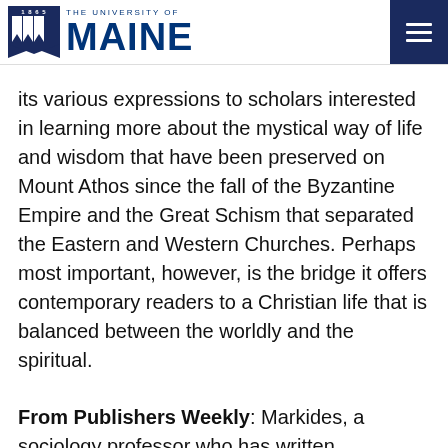THE UNIVERSITY OF MAINE 1865
its various expressions to scholars interested in learning more about the mystical way of life and wisdom that have been preserved on Mount Athos since the fall of the Byzantine Empire and the Great Schism that separated the Eastern and Western Churches. Perhaps most important, however, is the bridge it offers contemporary readers to a Christian life that is balanced between the worldly and the spiritual.
From Publishers Weekly: Markides, a sociology professor who has written extensively about healers and mystics, resumes his exploration of Eastern Orthodox Christianity by taking readers on pilgrimages to places as diverse as Sedona, Ariz., and the Greek island of Patmos. As he did in The Mountain of Silence, Markides